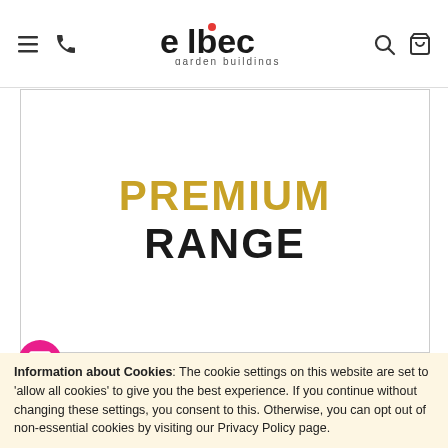elbec garden buildings - website header with navigation icons
[Figure (illustration): Banner image with text PREMIUM RANGE on white background inside a bordered box]
Information about Cookies: The cookie settings on this website are set to 'allow all cookies' to give you the best experience. If you continue without changing these settings, you consent to this. Otherwise, you can opt out of non-essential cookies by visiting our Privacy Policy page.